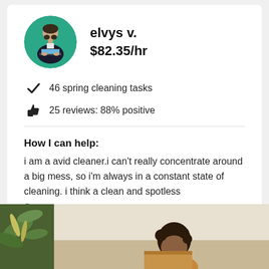[Figure (photo): Circular avatar photo of a man (elvys v.) sitting at a laptop, with a teal/green background]
elvys v.
$82.35/hr
46 spring cleaning tasks
25 reviews: 88% positive
How I can help:
i am a avid cleaner.i can't really concentrate around a big mess, so i'm always in a constant state of cleaning. i think a clean and spotless
See more
[Figure (photo): Bottom portion of page showing a person with curly hair and a green plant, partially visible]